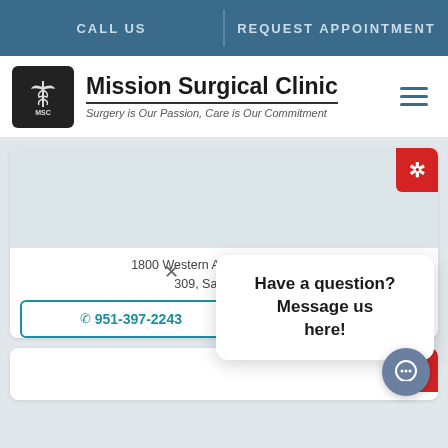CALL US | REQUEST APPOINTMENT
[Figure (logo): Mission Surgical Clinic logo — MSC caduceus icon in black box]
Mission Surgical Clinic
Surgery is Our Passion, Care is Our Commitment
1800 Western A[ve] [,] North Suite 309, San Berna[rdino]
951-397-2243
APPOINTMENT
Have a question? Message us here!